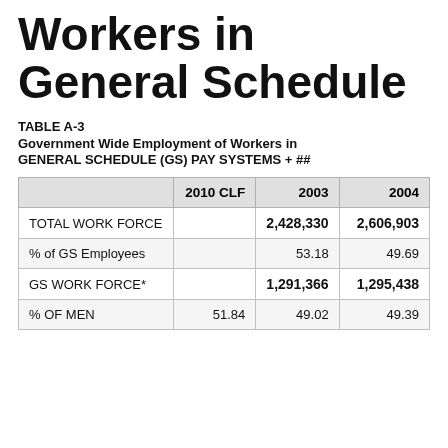Workers in General Schedule
TABLE A-3
Government Wide Employment of Workers in GENERAL SCHEDULE (GS) PAY SYSTEMS + ##
|  | 2010 CLF | 2003 | 2004 |
| --- | --- | --- | --- |
| TOTAL WORK FORCE |  | 2,428,330 | 2,606,903 |
| % of GS Employees |  | 53.18 | 49.69 |
| GS WORK FORCE* |  | 1,291,366 | 1,295,438 |
| % OF MEN | 51.84 | 49.02 | 49.39 |